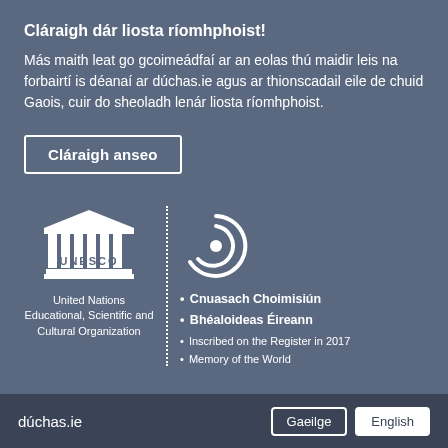Cláraigh dár liosta ríomhphoist!
Más maith leat go gcoimeádfaí ar an eolas thú maidir leis na forbairtí is déanaí ar dúchas.ie agus ar thionscadail eile de chuid Gaois, cuir do sheoladh lenár liosta ríomhphoist.
Cláraigh anseo
[Figure (logo): UNESCO logo (white temple/column icon with UNESC0 text) and Cnuasach Choimisiún Bhéaloideas Éireann circular logo, separated by a dotted vertical line. Below UNESCO logo: 'United Nations Educational, Scientific and Cultural Organization'. Beside the dotted line: bullet list with 'Cnuasach Choimisiún', 'Bhéaloideas Éireann', 'Inscribed on the Register in 2017', 'Memory of the World'.]
dúchas.ie   Gaeilge   English